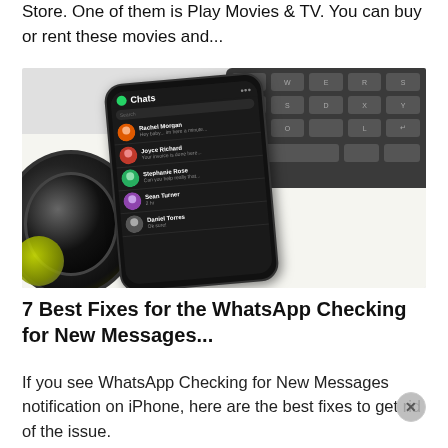Store. One of them is Play Movies & TV. You can buy or rent these movies and...
[Figure (photo): A smartphone showing WhatsApp Chats screen, placed on a white desk next to a camera lens (bottom-left) and a dark keyboard (top-right).]
7 Best Fixes for the WhatsApp Checking for New Messages...
If you see WhatsApp Checking for New Messages notification on iPhone, here are the best fixes to get rid of the issue.